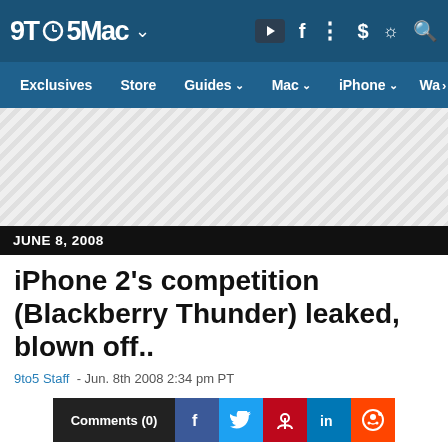9to5Mac - Navigation bar with logo, Exclusives, Store, Guides, Mac, iPhone, Wa
[Figure (infographic): Advertisement/ad placeholder area with diagonal hatching pattern]
JUNE 8, 2008
iPhone 2's competition (Blackberry Thunder) leaked, blown off..
9to5 Staff  - Jun. 8th 2008 2:34 pm PT
[Figure (infographic): Social sharing bar with Comments (0) button, Facebook, Twitter, Pinterest, LinkedIn, Reddit icons]
[Figure (photo): Broken image placeholder at bottom of page]